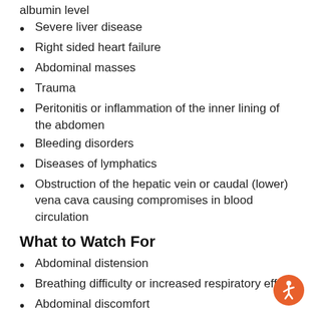albumin level
Severe liver disease
Right sided heart failure
Abdominal masses
Trauma
Peritonitis or inflammation of the inner lining of the abdomen
Bleeding disorders
Diseases of lymphatics
Obstruction of the hepatic vein or caudal (lower) vena cava causing compromises in blood circulation
What to Watch For
Abdominal distension
Breathing difficulty or increased respiratory effort
Abdominal discomfort
Lethargy
Cough